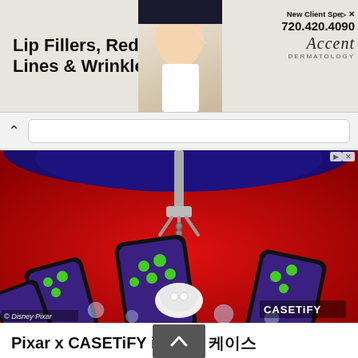[Figure (screenshot): Advertisement banner: 'Lip Fillers, Reduce Fine Lines & Wrinkles' with woman's face and Accent brand logo, phone number 720.420.4090, New Client Special offer]
[Figure (screenshot): Search bar UI element with chevron/back arrow and white search input field]
[Figure (photo): Claw machine / crane game filled with CASETiFY iPhone cases featuring Toy Story Little Green Men / alien characters (Disney Pixar). Multiple phone cases and AirPods cases visible against red background. CASETiFY logo in bottom right, Disney Pixar copyright in bottom left.]
Pixar x CASETiFY iPhone 케이스
지금까지의 Disney and Pixar's Toy Story 컬렉션을 모아 놓은 케이스